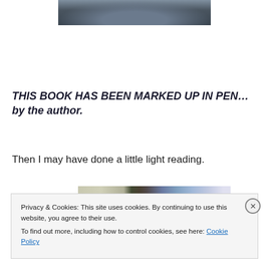[Figure (photo): Partial photo of a person sitting, visible from waist down, wearing jeans, holding a book, cropped at top of page]
THIS BOOK HAS BEEN MARKED UP IN PEN…by the author.
Then I may have done a little light reading.
[Figure (photo): Photo of a bookstore or library interior showing shelves lined with colorful books, ceiling visible above]
Privacy & Cookies: This site uses cookies. By continuing to use this website, you agree to their use.
To find out more, including how to control cookies, see here: Cookie Policy
Close and accept